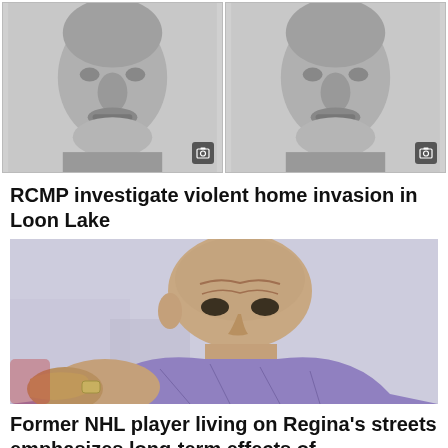[Figure (photo): Two black and white police/RCMP mugshot-style face photographs side by side, each with a camera icon overlay in the bottom right corner]
RCMP investigate violent home invasion in Loon Lake
[Figure (photo): Close-up photo of an older bald man with a weathered face wearing a purple mesh jersey or sports top, appears to be outdoors]
Former NHL player living on Regina's streets emphasizes long-term effects of concussions